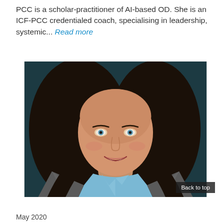PCC is a scholar-practitioner of AI-based OD. She is an ICF-PCC credentialed coach, specialising in leadership, systemic... Read more
[Figure (photo): Professional headshot of a woman with long dark hair and blue eyes, smiling, wearing a light blue shirt and grey blazer, against a dark teal background.]
May 2020